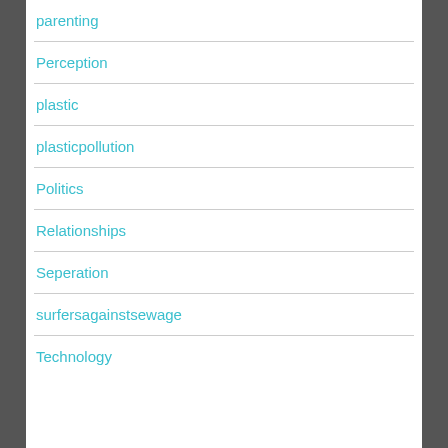parenting
Perception
plastic
plasticpollution
Politics
Relationships
Seperation
surfersagainstsewage
Technology